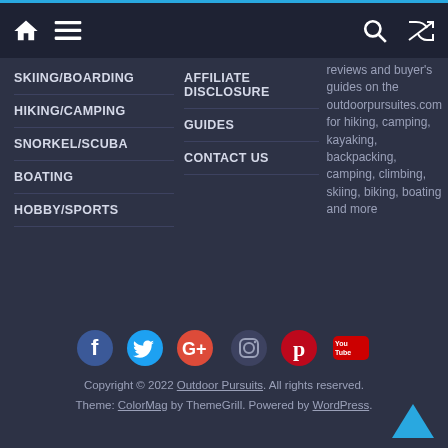Navigation bar with home icon, menu icon, search icon, shuffle icon
SKIING/BOARDING
HIKING/CAMPING
SNORKEL/SCUBA
BOATING
HOBBY/SPORTS
AFFILIATE DISCLOSURE
GUIDES
CONTACT US
reviews and buyer's guides on the outdoorpursuites.com for hiking, camping, kayaking, backpacking, camping, climbing, skiing, biking, boating and more
[Figure (infographic): Social media icons row: Facebook, Twitter, Google+, Instagram, Pinterest, YouTube]
Copyright © 2022 Outdoor Pursuits. All rights reserved. Theme: ColorMag by ThemeGrill. Powered by WordPress.